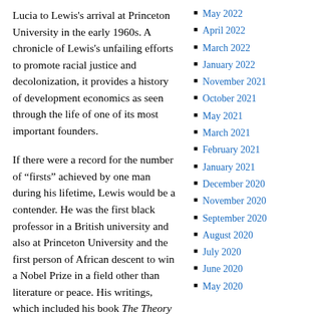Lucia to Lewis’s arrival at Princeton University in the early 1960s. A chronicle of Lewis’s unfailing efforts to promote racial justice and decolonization, it provides a history of development economics as seen through the life of one of its most important founders.
If there were a record for the number of “firsts” achieved by one man during his lifetime, Lewis would be a contender. He was the first black professor in a British university and also at Princeton University and the first person of African descent to win a Nobel Prize in a field other than literature or peace. His writings, which included his book The Theory of
May 2022
April 2022
March 2022
January 2022
November 2021
October 2021
May 2021
March 2021
February 2021
January 2021
December 2020
November 2020
September 2020
August 2020
July 2020
June 2020
May 2020